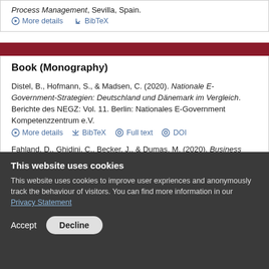Process Management, Sevilla, Spain.
More details   BibTeX
Book (Monography)
Distel, B., Hofmann, S., & Madsen, C. (2020). Nationale E-Government-Strategien: Deutschland und Dänemark im Vergleich. Berichte des NEGZ: Vol. 11. Berlin: Nationales E-Government Kompetenzzentrum e.V.
More details   BibTeX   Full text   DOI
Fahland, D., Ghidini, C., Becker, J., & Dumas, M. (2020). Business Process Management 18th International Conference, BPM 2020, Seville, Spain, September 13–18, 2020. Proceedings: 18th
This website uses cookies
This website uses cookies to improve user expriences and anonymously track the behaviour of visitors. You can find more information in our Privacy Statement
Accept   Decline